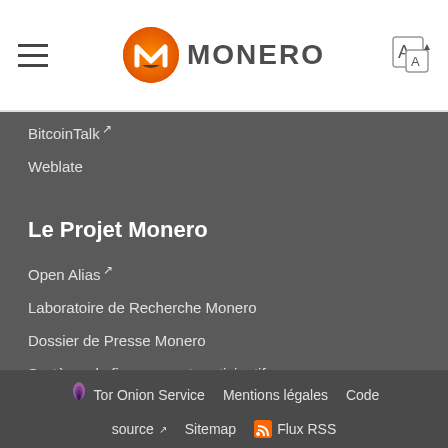MONERO header with hamburger menu, Monero logo, and language icon
BitcoinTalk ↗
Weblate
Le Projet Monero
Open Alias ↗
Laboratoire de Recherche Monero
Dossier de Presse Monero
Système de financement participatif
🧅 Tor Onion Service  Mentions légales  Code  source ↗  Sitemap  🟠 Flux RSS